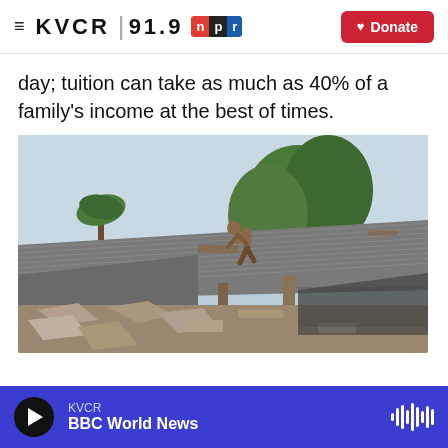KVCR 91.9 NPR | Donate
day; tuition can take as much as 40% of a family's income at the best of times.
[Figure (photo): A person stands on a corrugated metal roof of a damaged or collapsed building, with rubble and debris visible below, trees in the background, and a pale blue sky.]
KVCR BBC World News